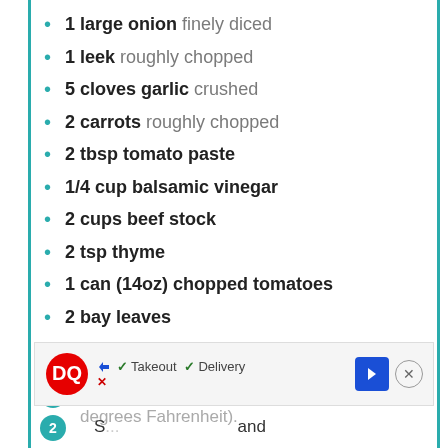1 large onion finely diced
1 leek roughly chopped
5 cloves garlic crushed
2 carrots roughly chopped
2 tbsp tomato paste
1/4 cup balsamic vinegar
2 cups beef stock
2 tsp thyme
1 can (14oz) chopped tomatoes
2 bay leaves
INSTRUCTIONS
1. Preheat the oven to 200 degrees Celsius (390 degrees Fahrenheit).
2. S... and